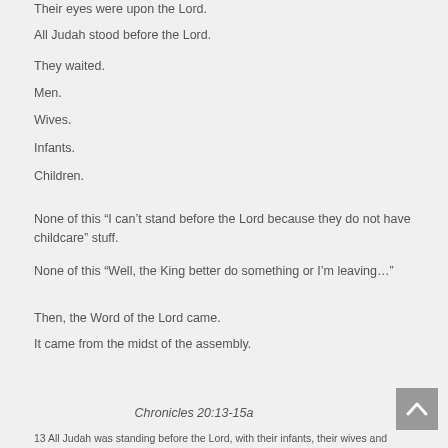Their eyes were upon the Lord.
All Judah stood before the Lord.
They waited.
Men.
Wives.
Infants.
Children.
None of this “I can’t stand before the Lord because they do not have childcare” stuff.
None of this “Well, the King better do something or I’m leaving…”
Then, the Word of the Lord came.
It came from the midst of the assembly.
Chronicles 20:13-15a
13 All Judah was standing before the Lord, with their infants, their wives and